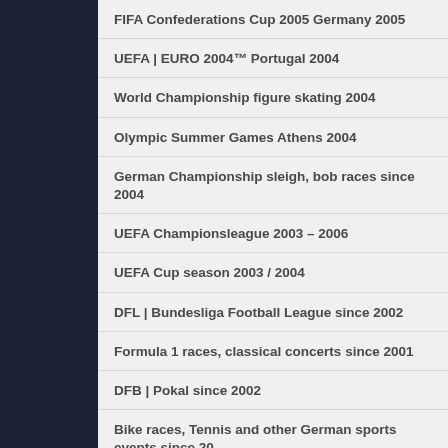FIFA Confederations Cup 2005 Germany 2005
UEFA | EURO 2004™ Portugal 2004
World Championship figure skating 2004
Olympic Summer Games Athens 2004
German Championship sleigh, bob races since 2004
UEFA Championsleague 2003 – 2006
UEFA Cup season 2003 / 2004
DFL | Bundesliga Football League since 2002
Formula 1 races, classical concerts since 2001
DFB | Pokal since 2002
Bike races, Tennis and other German sports events since 20…
Studio productions since 2002